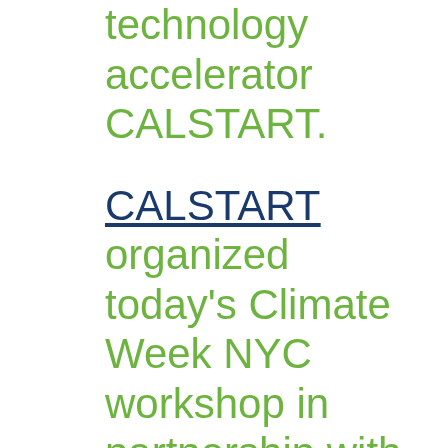technology accelerator CALSTART.
CALSTART organized today's Climate Week NYC workshop in partnership with the City of New York and Government of Quebec in recognition of their